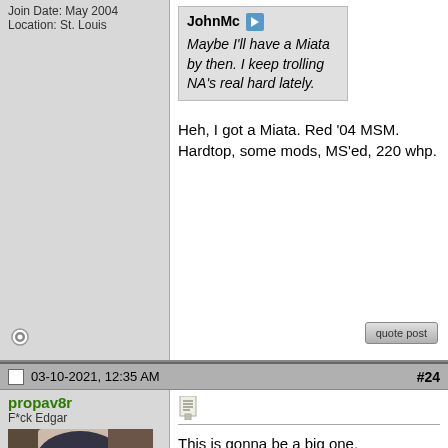Join Date: May 2004
Location: St. Louis
JohnMc
Maybe I'll have a Miata by then. I keep trolling NA's real hard lately.
Heh, I got a Miata. Red '04 MSM. Hardtop, some mods, MS'ed, 220 whp.
03-10-2021, 12:35 AM
#24
propav8r
F*ck Edgar
This is gonna be a big one.
[Figure (photo): Avatar photo of propav8r, a person wearing a dark beanie hat, partial face visible inside a vehicle]